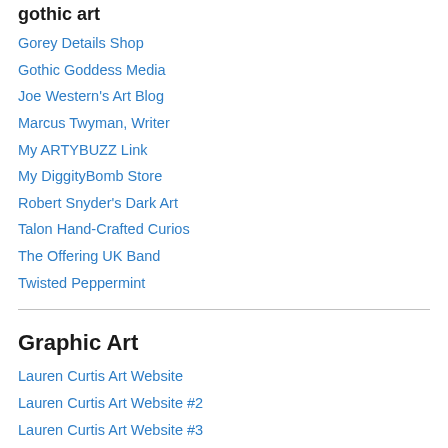gothic art
Gorey Details Shop
Gothic Goddess Media
Joe Western's Art Blog
Marcus Twyman, Writer
My ARTYBUZZ Link
My DiggityBomb Store
Robert Snyder's Dark Art
Talon Hand-Crafted Curios
The Offering UK Band
Twisted Peppermint
Graphic Art
Lauren Curtis Art Website
Lauren Curtis Art Website #2
Lauren Curtis Art Website #3
My ARTYBUZZ Link
QuickieCards: Greeting Card Co. (I design for!)